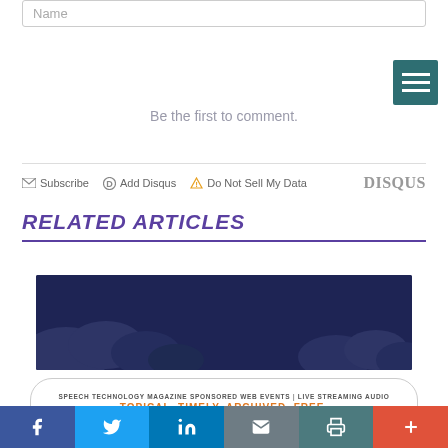Name
Be the first to comment.
Subscribe  Add Disqus  Do Not Sell My Data  DISQUS
RELATED ARTICLES
[Figure (illustration): Dark blue night sky background with cloud silhouettes]
[Figure (infographic): Advertisement banner: SPEECH TECHNOLOGY MAGAZINE SPONSORED WEB EVENTS | LIVE STREAMING AUDIO — TOPICAL. TIMELY. ARCHIVED. FREE.]